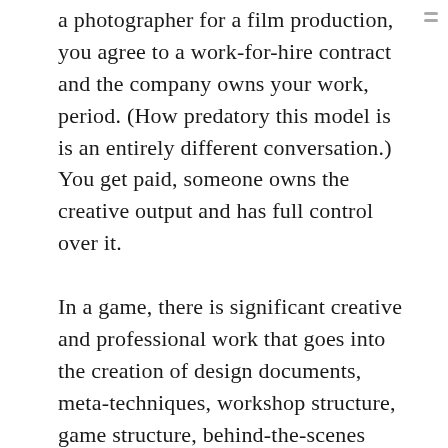a photographer for a film production, you agree to a work-for-hire contract and the company owns your work, period. (How predatory this model is is an entirely different conversation.) You get paid, someone owns the creative output and has full control over it.

In a game, there is significant creative and professional work that goes into the creation of design documents, meta-techniques, workshop structure, game structure, behind-the-scenes game organization and a great number of other similar aspects. The design of the lore and setting to support the style of game, by picking the location, by building in conflicts, by guiding the types of stories that will be created, and making this mesh with the rest of the game design is the